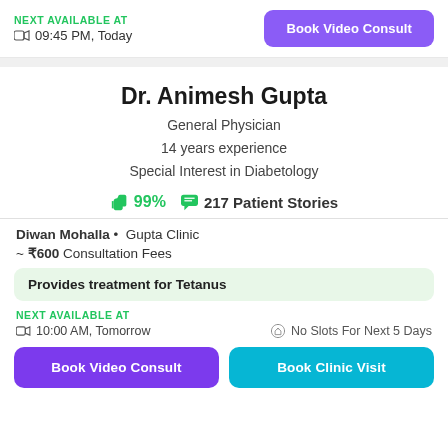NEXT AVAILABLE AT
📹 09:45 PM, Today
Book Video Consult
Dr. Animesh Gupta
General Physician
14 years experience
Special Interest in Diabetology
👍99%  💬 217 Patient Stories
Diwan Mohalla • Gupta Clinic
~ ₹600 Consultation Fees
Provides treatment for Tetanus
NEXT AVAILABLE AT
📹 10:00 AM, Tomorrow
No Slots For Next 5 Days
Book Video Consult
Book Clinic Visit